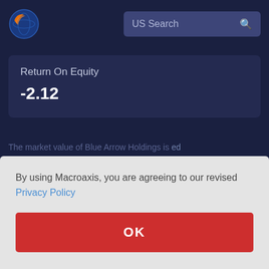[Figure (logo): Macroaxis globe logo with orange and blue colors]
US Search
Return On Equity
-2.12
By using Macroaxis, you are agreeing to our revised Privacy Policy
OK